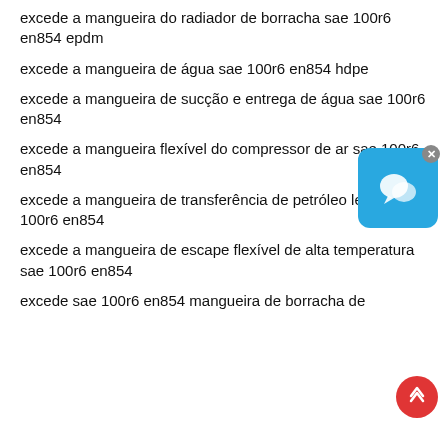excede a mangueira do radiador de borracha sae 100r6 en854 epdm
excede a mangueira de água sae 100r6 en854 hdpe
excede a mangueira de sucção e entrega de água sae 100r6 en854
excede a mangueira flexível do compressor de ar sae 100r6 en854
excede a mangueira de transferência de petróleo leve sae 100r6 en854
excede a mangueira de escape flexível de alta temperatura sae 100r6 en854
excede sae 100r6 en854 mangueira de borracha de